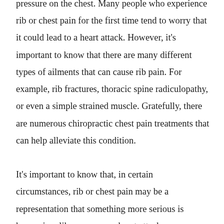pressure on the chest. Many people who experience rib or chest pain for the first time tend to worry that it could lead to a heart attack. However, it's important to know that there are many different types of ailments that can cause rib pain. For example, rib fractures, thoracic spine radiculopathy, or even a simple strained muscle. Gratefully, there are numerous chiropractic chest pain treatments that can help alleviate this condition.

It's important to know that, in certain circumstances, rib or chest pain may be a representation that something more serious is happening, like cancer or a heart attack.